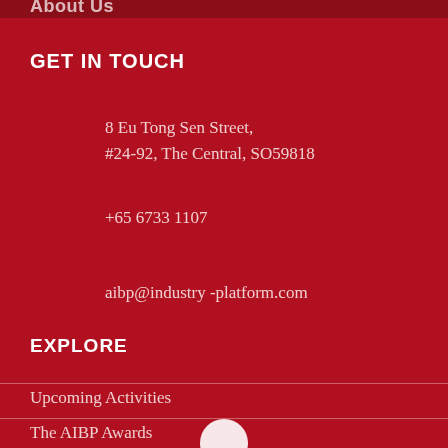About Us
GET IN TOUCH
8 Eu Tong Sen Street,
#24-92, The Central, SO59818
+65 6733 1107
aibp@industry-platform.com
EXPLORE
Upcoming Activities
The AIBP Awards